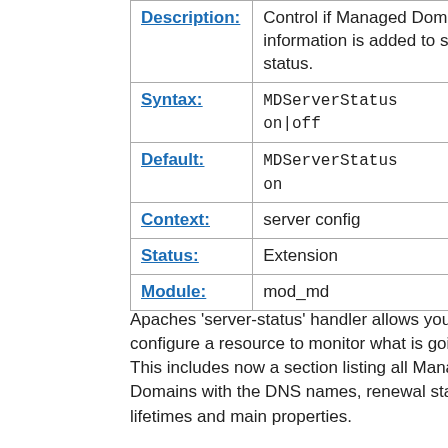| Field | Value |
| --- | --- |
| Description: | Control if Managed Domain information is added to server-status. |
| Syntax: | MDServerStatus on|off |
| Default: | MDServerStatus on |
| Context: | server config |
| Status: | Extension |
| Module: | mod_md |
Apaches 'server-status' handler allows you configure a resource to monitor what is going on. This includes now a section listing all Managed Domains with the DNS names, renewal status, lifetimes and main properties.